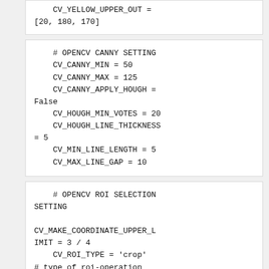CV_YELLOW_UPPER_OUT = [20, 180, 170]
# OPENCV CANNY SETTING
    CV_CANNY_MIN = 50
    CV_CANNY_MAX = 125
    CV_CANNY_APPLY_HOUGH = False
    CV_HOUGH_MIN_VOTES = 20
    CV_HOUGH_LINE_THICKNESS = 5
    CV_MIN_LINE_LENGTH = 5
    CV_MAX_LINE_GAP = 10
# OPENCV ROI SELECTION SETTING

CV_MAKE_COORDINATE_UPPER_LIMIT = 3 / 4
    CV_ROI_TYPE = 'crop'
# type of roi-operation
(crop | mask | None)